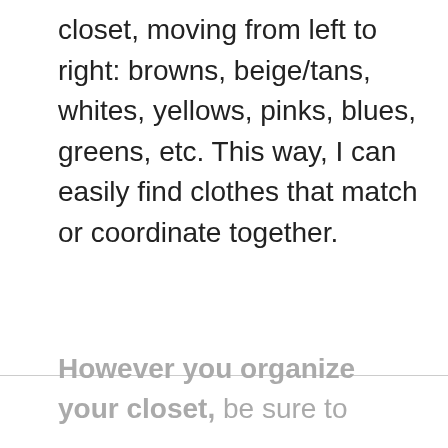closet, moving from left to right: browns, beige/tans, whites, yellows, pinks, blues, greens, etc. This way, I can easily find clothes that match or coordinate together.
However you organize your closet, be sure to